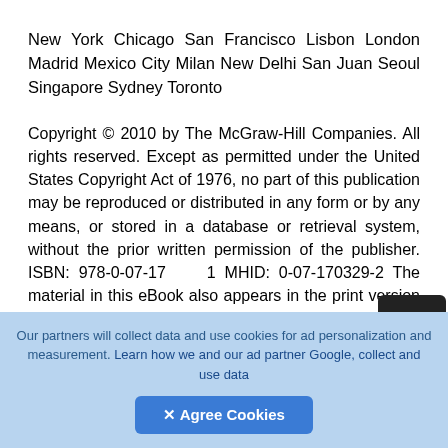New York Chicago San Francisco Lisbon London Madrid Mexico City Milan New Delhi San Juan Seoul Singapore Sydney Toronto
Copyright © 2010 by The McGraw-Hill Companies. All rights reserved. Except as permitted under the United States Copyright Act of 1976, no part of this publication may be reproduced or distributed in any form or by any means, or stored in a database or retrieval system, without the prior written permission of the publisher. ISBN: 978-0-07-170329-1 MHID: 0-07-170329-2 The material in this eBook also appears in the print version of this title: ISBN: 978-0-07-170328-4, MHID: 0-07-170328-4. All
Our partners will collect data and use cookies for ad personalization and measurement. Learn how we and our ad partner Google, collect and use data